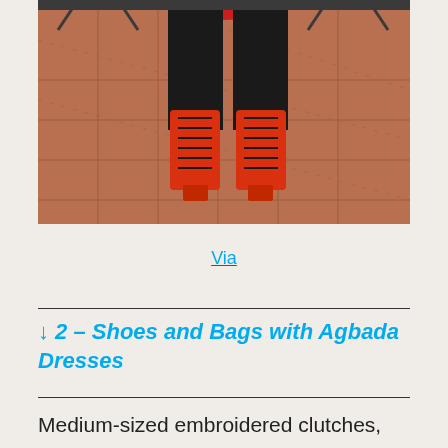[Figure (photo): Photo showing lower body of a person wearing black wide-leg pants and red lace-up gladiator heeled boots, standing on a terracotta tiled floor. A red handbag is partially visible at the top.]
Via
↓ 2 – Shoes and Bags with Agbada Dresses
Medium-sized embroidered clutches,